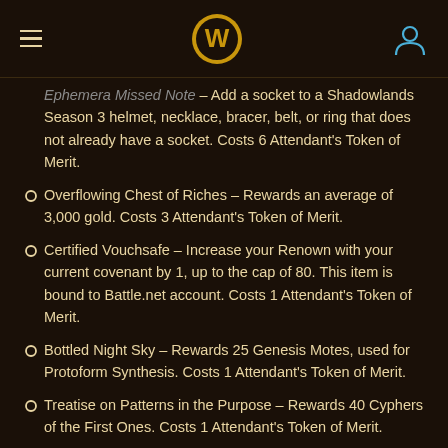World of Warcraft navigation header
Ephemera Missed Note – Add a socket to a Shadowlands Season 3 helmet, necklace, bracer, belt, or ring that does not already have a socket. Costs 6 Attendant's Token of Merit.
Overflowing Chest of Riches – Rewards an average of 3,000 gold. Costs 3 Attendant's Token of Merit.
Certified Vouchsafe – Increase your Renown with your current covenant by 1, up to the cap of 80. This item is bound to Battle.net account. Costs 1 Attendant's Token of Merit.
Bottled Night Sky – Rewards 25 Genesis Motes, used for Protoform Synthesis. Costs 1 Attendant's Token of Merit.
Treatise on Patterns in the Purpose – Rewards 40 Cyphers of the First Ones. Costs 1 Attendant's Token of Merit.
Tribute to the Enlightened – Rewards 150 Reputation